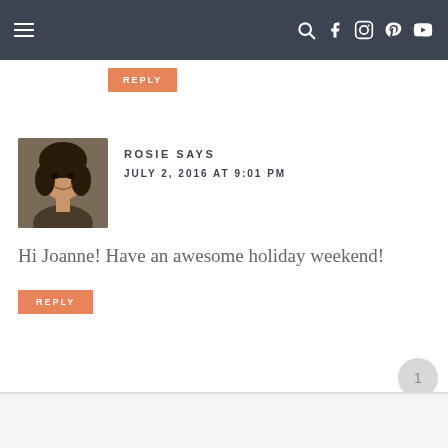Navigation bar with hamburger menu and social icons
REPLY
ROSIE SAYS
JULY 2, 2016 AT 9:01 PM
Hi Joanne! Have an awesome holiday weekend!
REPLY